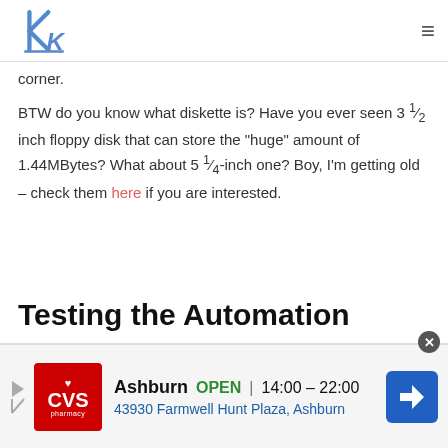KDE logo — navigation bar
corner.
BTW do you know what diskette is? Have you ever seen 3 ½ inch floppy disk that can store the "huge" amount of 1.44MBytes? What about 5 ¼-inch one? Boy, I'm getting old – check them here if you are interested.
Testing the Automation
[Figure (other): CVS Pharmacy advertisement banner showing Ashburn location OPEN 14:00–22:00 at 43930 Farmwell Hunt Plaza, Ashburn]